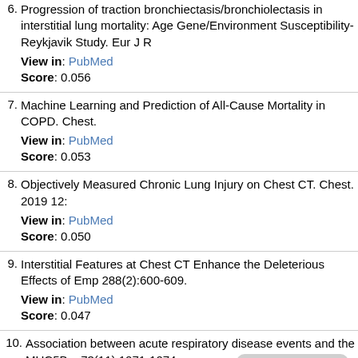6. Progression of traction bronchiectasis/bronchiolectasis in interstitial lung mortality: Age Gene/Environment Susceptibility-Reykjavik Study. Eur J R
View in: PubMed
Score: 0.056
7. Machine Learning and Prediction of All-Cause Mortality in COPD. Chest.
View in: PubMed
Score: 0.053
8. Objectively Measured Chronic Lung Injury on Chest CT. Chest. 2019 12:
View in: PubMed
Score: 0.050
9. Interstitial Features at Chest CT Enhance the Deleterious Effects of Emp 288(2):600-609.
View in: PubMed
Score: 0.047
10. Association between acute respiratory disease events and the MUC5B p 73(11):1071-1074.
View in: PubMed
Score: 0.046